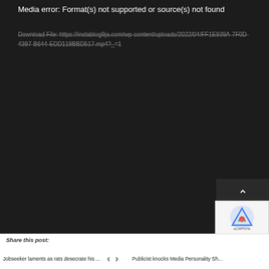Media error: Format(s) not supported or source(s) not found
Download File: https://instablog9ja.com/wp-content/uploads/2022/04/FF1E939A-7F0D-4397-B644-EDD119BBD517.mp4?_=1
[Figure (screenshot): Dark video player error screen with reCAPTCHA badge in bottom right corner]
Share this post:
Jobseeker laments as rats desecrate his ...
Publicist knocks Media Personality Sh...